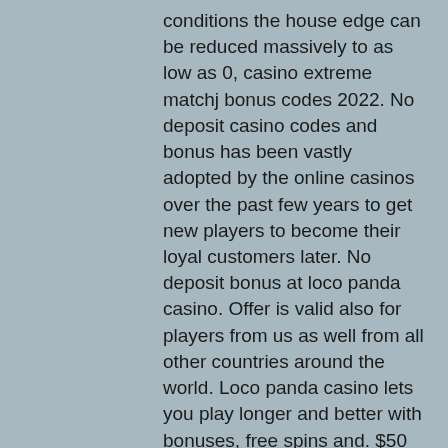conditions the house edge can be reduced massively to as low as 0, casino extreme matchj bonus codes 2022. No deposit casino codes and bonus has been vastly adopted by the online casinos over the past few years to get new players to become their loyal customers later. No deposit bonus at loco panda casino. Offer is valid also for players from us as well from all other countries around the world. Loco panda casino lets you play longer and better with bonuses, free spins and. $50 no deposit bonus at grand parker casino. While the loco panda welcome bonuses of $4,000 for slots players and up to $3,000 for casino table games players are more than enough to get. R200 no deposit bonus for all players playthrough: 60xb max cashout: r500. Overview of loco panda casino powered by rtg with exclusive no deposit bonus codes as well as nice welcome promotions and a large collection of games. You can conveniently find a